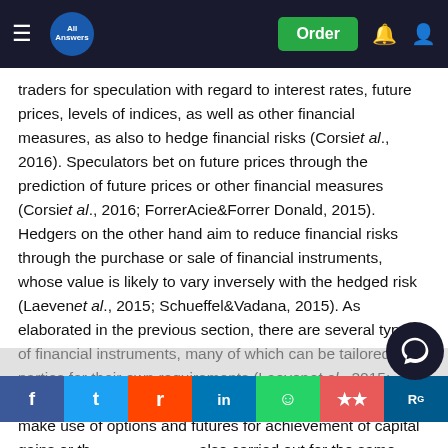All Answers — navigation bar with Order button
traders for speculation with regard to interest rates, future prices, levels of indices, as well as other financial measures, as also to hedge financial risks (Corsiet al., 2016). Speculators bet on future prices through the prediction of future prices or other financial measures (Corsiet al., 2016; ForrerAcie&Forrer Donald, 2015). Hedgers on the other hand aim to reduce financial risks through the purchase or sale of financial instruments, whose value is likely to vary inversely with the hedged risk (Laevenet al., 2015; Schueffel&Vadana, 2015). As elaborated in the previous section, there are several types of financial instruments, many of which can be tailored by parties for their own requirements (Laevenet al., 2015; Schueffel&Vadana, 2015). Individuals and organisations make use of options and futures for achievement of capital gains or through investment clubs, also carried out for the same purpose (Raillene, 2015; Mention
Social share bar: Facebook, Twitter, Reddit, LinkedIn, WhatsApp, Mendeley, ResearchGate